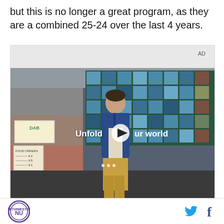but this is no longer a great program, as they are a combined 25-24 over the last 4 years.
[Figure (screenshot): Video advertisement screenshot showing a young man in a diner wearing a blue denim jacket and khaki pants, with text 'Unfold your world' and a play button overlay. AD label in upper right corner.]
NU logo and social media icons (Twitter, Facebook)